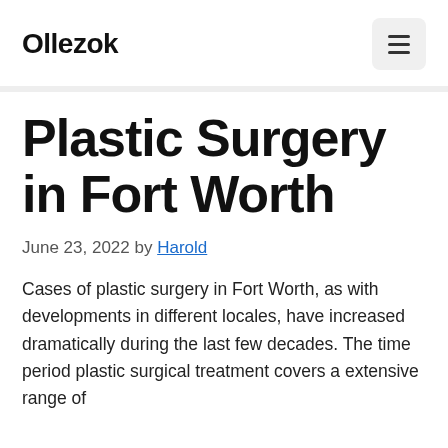Ollezok
Plastic Surgery in Fort Worth
June 23, 2022 by Harold
Cases of plastic surgery in Fort Worth, as with developments in different locales, have increased dramatically during the last few decades. The time period plastic surgical treatment covers a extensive range of